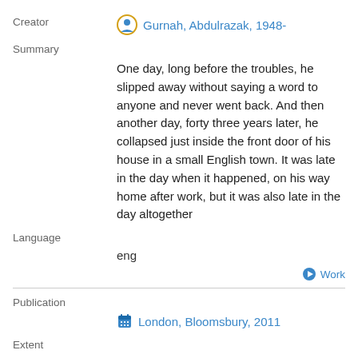Creator
Gurnah, Abdulrazak, 1948-
Summary
One day, long before the troubles, he slipped away without saying a word to anyone and never went back. And then another day, forty three years later, he collapsed just inside the front door of his house in a small English town. It was late in the day when it happened, on his way home after work, but it was also late in the day altogether
Language
eng
Work
Publication
London, Bloomsbury, 2011
Extent